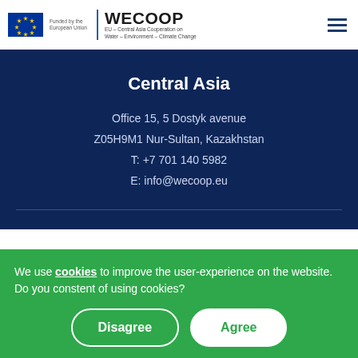WECOOP – EU – Central Asia Cooperation on Water – Environment – Climate Change
Central Asia
Office 15, 5 Dostyk avenue
Z05H9M1 Nur-Sultan, Kazakhstan
T: +7 701 140 5982
E: info@wecoop.eu
We use cookies to improve the user-experience on the website. Do you constent of using cookies?